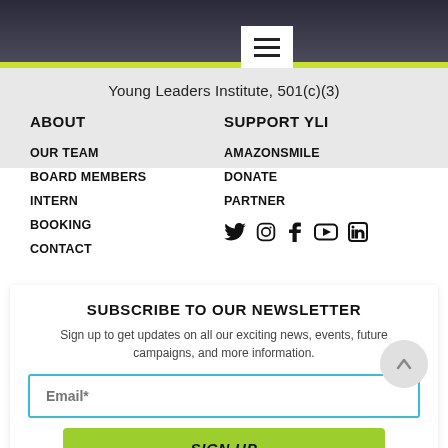[Figure (photo): Dark photo strip at top of page showing partial website header image]
Young Leaders Institute, 501(c)(3)
ABOUT
SUPPORT YLI
OUR TEAM
BOARD MEMBERS
INTERN
BOOKING
CONTACT
AMAZONSMILE
DONATE
PARTNER
[Figure (infographic): Social media icons row: Twitter, Instagram, Facebook, YouTube, LinkedIn]
SUBSCRIBE TO OUR NEWSLETTER
Sign up to get updates on all our exciting news, events, future campaigns, and more information.
Email*
SIGN UP
[Figure (infographic): Bottom social media icons bar: Twitter, Instagram, Facebook, LinkedIn]
created with Loebigink.com